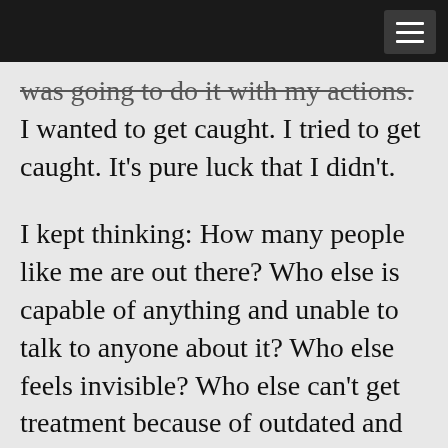[navigation bar with menu icon]
was going to do it with my actions. I wanted to get caught. I tried to get caught. It's pure luck that I didn't.
I kept thinking: How many people like me are out there? Who else is capable of anything and unable to talk to anyone about it? Who else feels invisible? Who else can't get treatment because of outdated and illogical psychological criteria? Who else in this world is like a bomb waiting to explode in